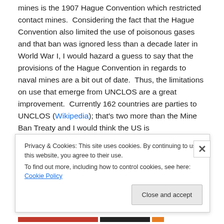Currently, the only treaty that regulates the use of naval mines is the 1907 Hague Convention which restricted contact mines. Considering the fact that the Hague Convention also limited the use of poisonous gases and that ban was ignored less than a decade later in World War I, I would hazard a guess to say that the provisions of the Hague Convention in regards to naval mines are a bit out of date. Thus, the limitations on use that emerge from UNCLOS are a great improvement. Currently 162 countries are parties to UNCLOS (Wikipedia); that's two more than the Mine Ban Treaty and I would think the US is
Privacy & Cookies: This site uses cookies. By continuing to use this website, you agree to their use.
To find out more, including how to control cookies, see here: Cookie Policy